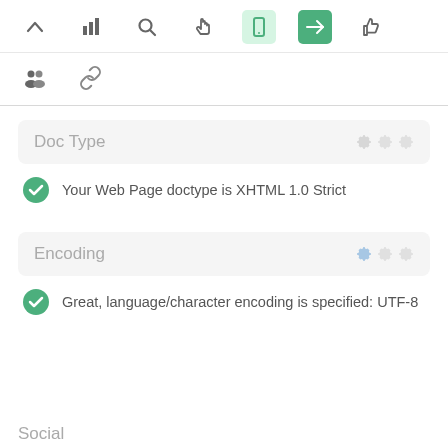[Figure (screenshot): Top toolbar with icons: chevron up, bar chart, search, hand/pointer, mobile (light green background), send/arrow (dark green background), thumbs up]
[Figure (screenshot): Second toolbar row with icons: group/people, chain/link]
Doc Type
Your Web Page doctype is XHTML 1.0 Strict
Encoding
Great, language/character encoding is specified: UTF-8
Social